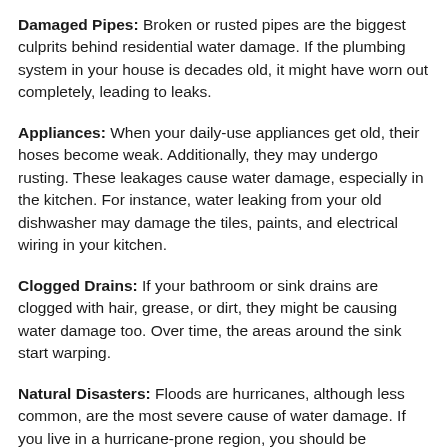Damaged Pipes: Broken or rusted pipes are the biggest culprits behind residential water damage. If the plumbing system in your house is decades old, it might have worn out completely, leading to leaks.
Appliances: When your daily-use appliances get old, their hoses become weak. Additionally, they may undergo rusting. These leakages cause water damage, especially in the kitchen. For instance, water leaking from your old dishwasher may damage the tiles, paints, and electrical wiring in your kitchen.
Clogged Drains: If your bathroom or sink drains are clogged with hair, grease, or dirt, they might be causing water damage too. Over time, the areas around the sink start warping.
Natural Disasters: Floods are hurricanes, although less common, are the most severe cause of water damage. If you live in a hurricane-prone region, you should be prepared to deal with this nuisance.
Fortunately, if you live in Pueblo, you don't have to worry about these problems as we're just a call away. If you notice any of the above signs on your property, get in touch with us for water damage